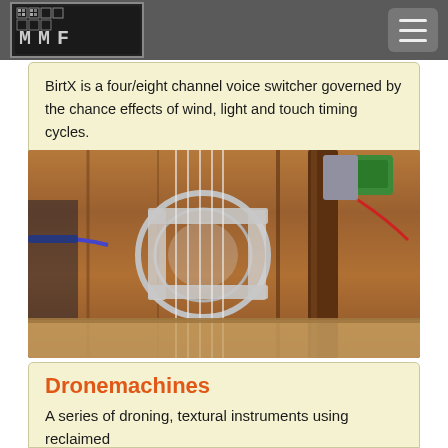MMF (logo) — navigation header with hamburger menu
BirtX is a four/eight channel voice switcher governed by the chance effects of wind, light and touch timing cycles.
[Figure (photo): Close-up photograph of a stringed instrument mechanism with metal ring and strings stretched over a wooden body, with wires and components attached]
Dronemachines
A series of droning, textural instruments using reclaimed